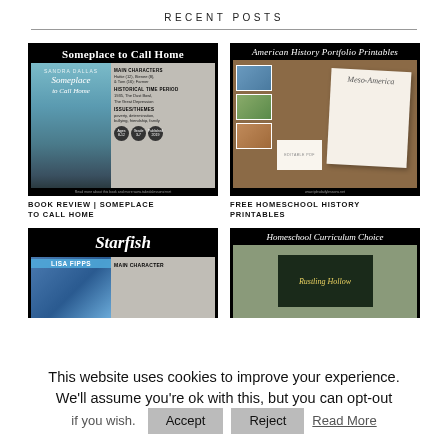RECENT POSTS
[Figure (screenshot): Book review card for 'Someplace to Call Home' by Sandra Dallas]
BOOK REVIEW | SOMEPLACE TO CALL HOME
[Figure (screenshot): Free homeschool history printables - American History Portfolio Printables, Meso-America]
FREE HOMESCHOOL HISTORY PRINTABLES
[Figure (screenshot): Book review card for 'Starfish' by Lisa Fipps]
[Figure (screenshot): Homeschool Curriculum Choice card]
This website uses cookies to improve your experience. We'll assume you're ok with this, but you can opt-out if you wish.
Accept
Reject
Read More